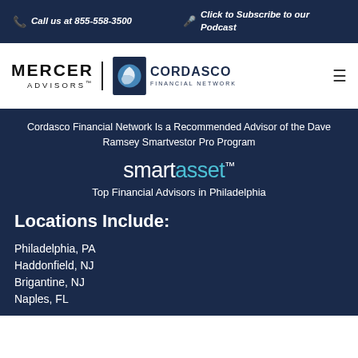Call us at 855-558-3500 | Click to Subscribe to our Podcast
[Figure (logo): Mercer Advisors and Cordasco Financial Network logos with hamburger menu]
Cordasco Financial Network Is a Recommended Advisor of the Dave Ramsey Smartvestor Pro Program
[Figure (logo): smartasset™ logo]
Top Financial Advisors in Philadelphia
Locations Include:
Philadelphia, PA
Haddonfield, NJ
Brigantine, NJ
Naples, FL